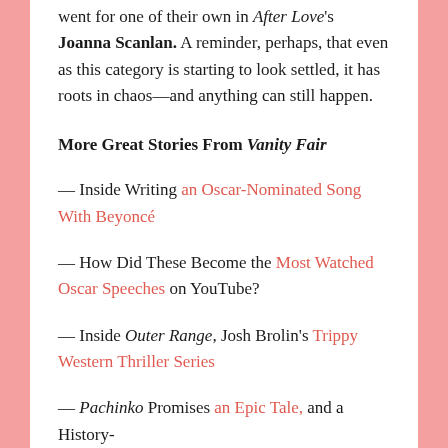went for one of their own in After Love's Joanna Scanlan. A reminder, perhaps, that even as this category is starting to look settled, it has roots in chaos—and anything can still happen.
More Great Stories From Vanity Fair
— Inside Writing an Oscar-Nominated Song With Beyoncé
— How Did These Become the Most Watched Oscar Speeches on YouTube?
— Inside Outer Range, Josh Brolin's Trippy Western Thriller Series
— Pachinko Promises an Epic Tale, and a History-